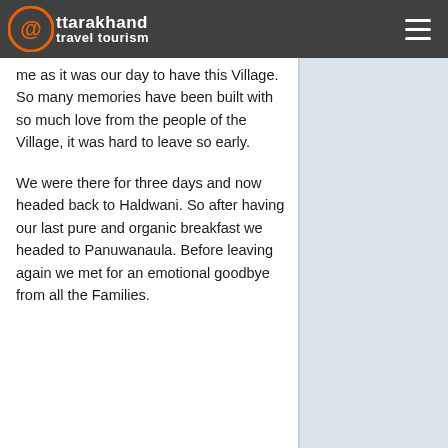uttarakhand travel tourism
me as it was our day to have this Village. So many memories have been built with so much love from the people of the Village, it was hard to leave so early.
We were there for three days and now headed back to Haldwani. So after having our last pure and organic breakfast we headed to Panuwanaula. Before leaving again we met for an emotional goodbye from all the Families.